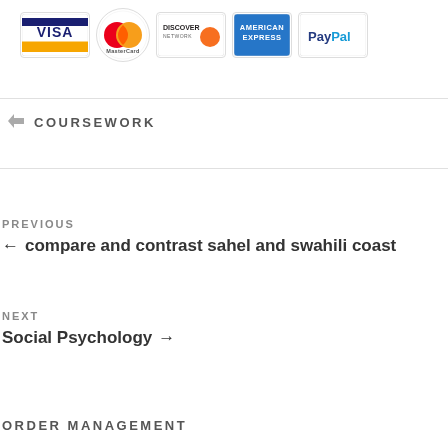[Figure (logo): Payment method logos: Visa, MasterCard, Discover, American Express, PayPal]
COURSEWORK
← compare and contrast sahel and swahili coast
Social Psychology →
ORDER MANAGEMENT